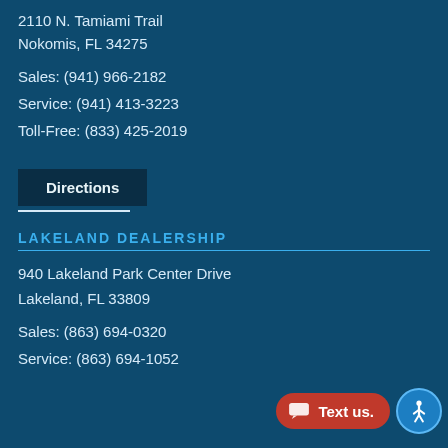2110 N. Tamiami Trail
Nokomis, FL 34275
Sales: (941) 966-2182
Service: (941) 413-3223
Toll-Free: (833) 425-2019
Directions
LAKELAND DEALERSHIP
940 Lakeland Park Center Drive
Lakeland, FL 33809
Sales: (863) 694-0320
Service: (863) 694-1052
Text us.